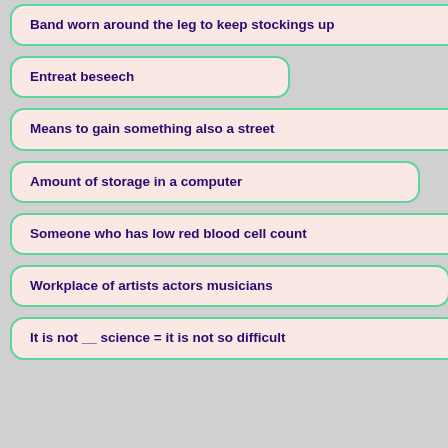Band worn around the leg to keep stockings up
Entreat beseech
Means to gain something also a street
Amount of storage in a computer
Someone who has low red blood cell count
Workplace of artists actors musicians
It is not __ science = it is not so difficult